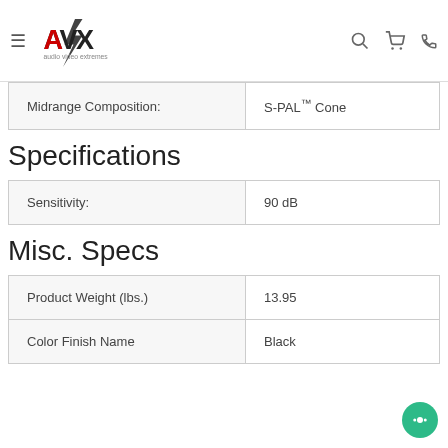AVX audio video extremes
| Midrange Composition: | S-PAL™ Cone |
| --- | --- |
| Midrange Composition: | S-PAL™ Cone |
Specifications
| Sensitivity: | 90 dB |
| --- | --- |
| Sensitivity: | 90 dB |
Misc. Specs
| Product Weight (lbs.) | Color Finish Name |
| --- | --- |
| Product Weight (lbs.) | 13.95 |
| Color Finish Name | Black |